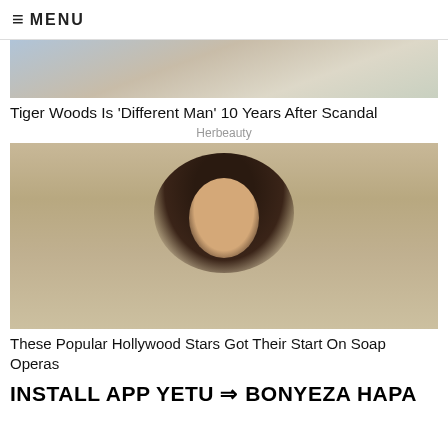≡ MENU
[Figure (photo): Partial photo of a person, cropped — only upper body visible with light blue/gray background]
Tiger Woods Is 'Different Man' 10 Years After Scandal
Herbeauty
[Figure (photo): Photo of a young brunette woman with long wavy hair looking upward, appears to be a vintage/retro Hollywood actress headshot]
These Popular Hollywood Stars Got Their Start On Soap Operas
INSTALL APP YETU ⇒ BONYEZA HAPA